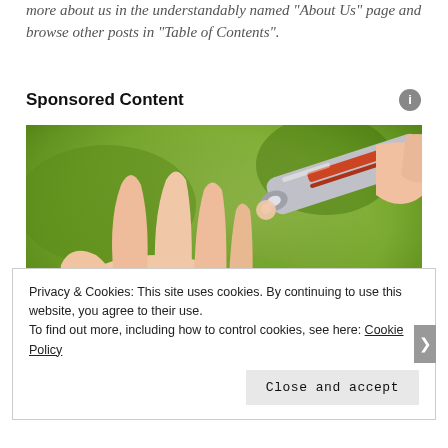more about us in the understandably named "About Us" page and browse other posts in "Table of Contents".
Sponsored Content
[Figure (photo): Close-up photo of a blood glucose lancet device pricking a fingertip, with a hand holding the device against a green background.]
Privacy & Cookies: This site uses cookies. By continuing to use this website, you agree to their use.
To find out more, including how to control cookies, see here: Cookie Policy
Close and accept